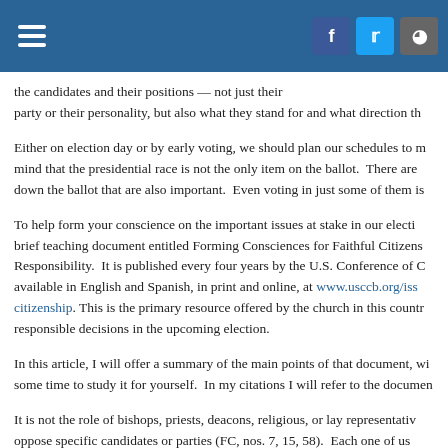Navigation and social share header bar
the candidates and their positions — not just their party or their personality, but also what they stand for and what direction th
Either on election day or by early voting, we should plan our schedules to m mind that the presidential race is not the only item on the ballot.  There are down the ballot that are also important.  Even voting in just some of them is
To help form your conscience on the important issues at stake in our electi brief teaching document entitled Forming Consciences for Faithful Citizens Responsibility.  It is published every four years by the U.S. Conference of C available in English and Spanish, in print and online, at www.usccb.org/iss citizenship. This is the primary resource offered by the church in this countr responsible decisions in the upcoming election.
In this article, I will offer a summary of the main points of that document, wi some time to study it for yourself.  In my citations I will refer to the documen
It is not the role of bishops, priests, deacons, religious, or lay representativ oppose specific candidates or parties (FC, nos. 7, 15, 58).  Each one of us look carefully at the platform of each candidate and compare those position